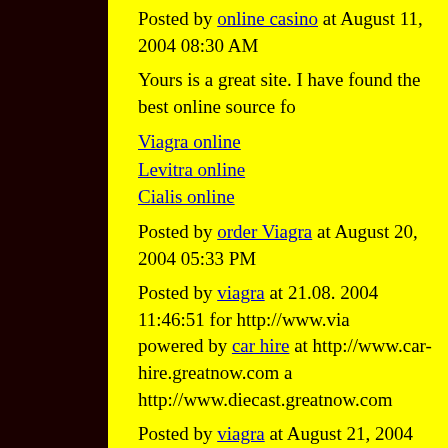Posted by online casino at August 11, 2004 08:30 AM
Yours is a great site. I have found the best online source fo
Viagra online
Levitra online
Cialis online
Posted by order Viagra at August 20, 2004 05:33 PM
Posted by viagra at 21.08. 2004 11:46:51 for http://www.via powered by car hire at http://www.car-hire.greatnow.com a http://www.diecast.greatnow.com
Posted by viagra at August 21, 2004 05:46 AM
This Blog Is Fantastic. I like it.
http://www.buythepill.biz
http://www.v-medical.biz
http://www.888-on-net.biz
http://www.mapau-online.biz
http://www.vegas-online-blackjack.biz
http://www.online-texas-holdem.biz
http://www.buy-v-online.biz
Posted by viagra at August 22, 2004 09:04 AM
2108 check out the hot blackjack at http://www.blackjack-p blackjack online all you want! So everyone ~SMURKLE~